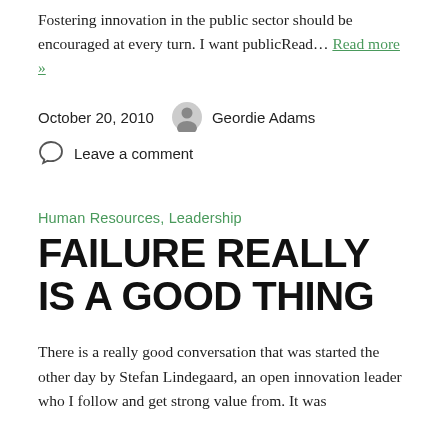Fostering innovation in the public sector should be encouraged at every turn. I want publicRead… Read more »
October 20, 2010   Geordie Adams
Leave a comment
Human Resources, Leadership
FAILURE REALLY IS A GOOD THING
There is a really good conversation that was started the other day by Stefan Lindegaard, an open innovation leader who I follow and get strong value from. It was about failure and the value of failure with a focus on the